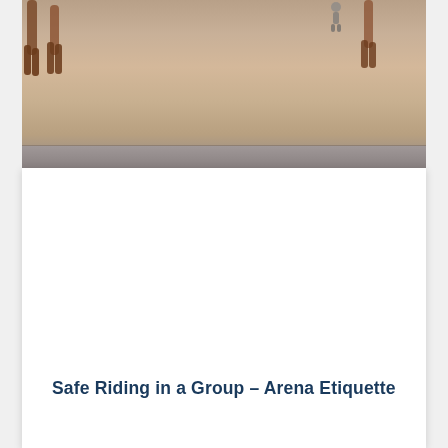[Figure (photo): A photograph showing horses and riders in a sandy arena, viewed from above or at ground level. The image shows the sandy ground of an equestrian arena with horse legs and figures visible. The bottom portion has a darker band (shadows or barrier). The image is cropped — only the lower portion is visible.]
Safe Riding in a Group – Arena Etiquette